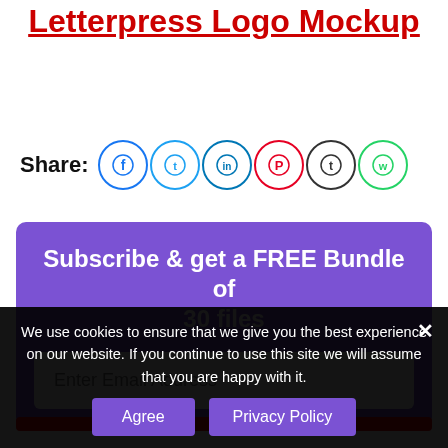Letterpress Logo Mockup
Share:
[Figure (infographic): Social share icons: Facebook, Twitter, LinkedIn, Pinterest, Tumblr, WhatsApp]
Subscribe & get a FREE Bundle of 30 files
Enter Email Address
We use cookies to ensure that we give you the best experience on our website. If you continue to use this site we will assume that you are happy with it.
Agree   Privacy Policy